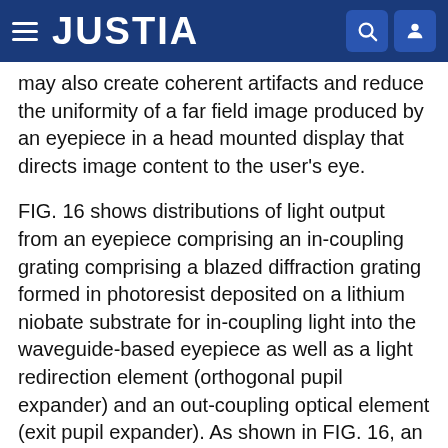JUSTIA
may also create coherent artifacts and reduce the uniformity of a far field image produced by an eyepiece in a head mounted display that directs image content to the user's eye.
FIG. 16 shows distributions of light output from an eyepiece comprising an in-coupling grating comprising a blazed diffraction grating formed in photoresist deposited on a lithium niobate substrate for in-coupling light into the waveguide-based eyepiece as well as a light redirection element (orthogonal pupil expander) and an out-coupling optical element (exit pupil expander). As shown in FIG. 16, an eyepiece with an in-coupling optical element comprising a blazed diffraction grating in photoresist deposited on a lithium niobate substrate may produce coherent uniformity of approximately 9.45% for unpolarized input and of approximately 11.3%